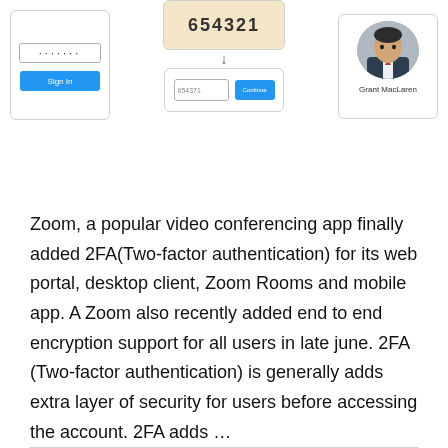[Figure (screenshot): Three screenshots: a login form with password dots and Sign In button, a 2FA flow showing OTP code 654321 and a code entry field with Continue button, and a profile photo of Grant MacLaren]
Zoom, a popular video conferencing app finally added 2FA(Two-factor authentication) for its web portal, desktop client, Zoom Rooms and mobile app. A Zoom also recently added end to end encryption support for all users in late june. 2FA (Two-factor authentication) is generally adds extra layer of security for users before accessing the account. 2FA adds …
Read More »